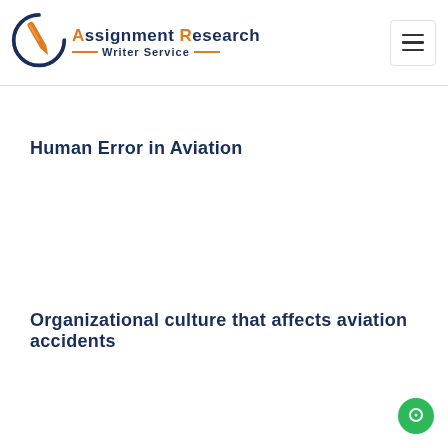Assignment Research Writer Service
Human Error in Aviation
Organizational culture that affects aviation accidents